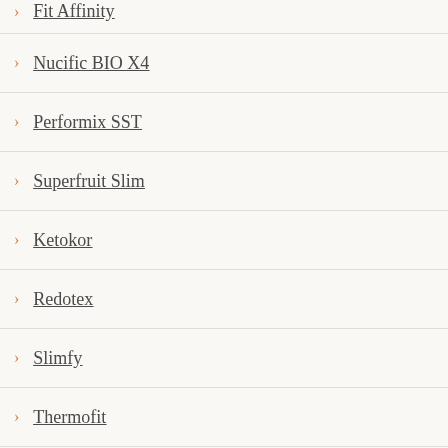Fit Affinity
Nucific BIO X4
Performix SST
Superfruit Slim
Ketokor
Redotex
Slimfy
Thermofit
Natural Max Slimming Capsule
CholestOff